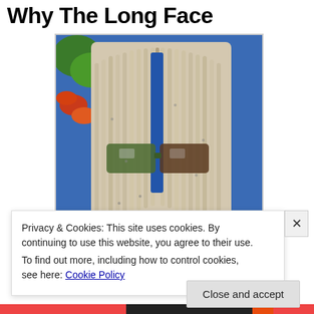Why The Long Face
[Figure (photo): A mop with rope strands arranged to look like long dreadlock hair, wearing sunglasses, propped against a blue wall with colorful plants visible in the background. A blue handle is visible in the center.]
Privacy & Cookies: This site uses cookies. By continuing to use this website, you agree to their use.
To find out more, including how to control cookies, see here: Cookie Policy
Close and accept